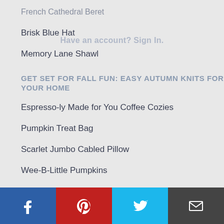French Cathedral Beret
Brisk Blue Hat
Memory Lane Shawl
GET SET FOR FALL FUN: EASY AUTUMN KNITS FOR YOUR HOME
Espresso-ly Made for You Coffee Cozies
Pumpkin Treat Bag
Scarlet Jumbo Cabled Pillow
Wee-B-Little Pumpkins
THE NEW EASY NEUTRALS
Nutmeg Latte Knit Hat Pattern
Oat Stitch Handbag
[Figure (infographic): Social sharing bar with Facebook, Pinterest, Twitter, and Email buttons]